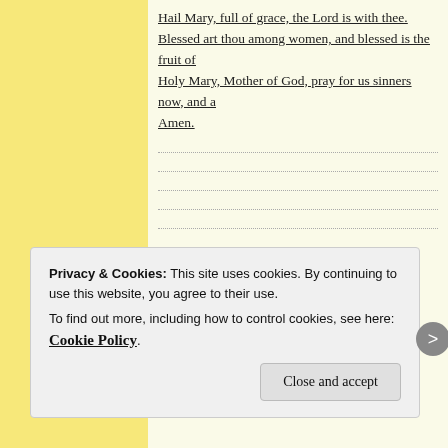Hail Mary, full of grace, the Lord is with thee. Blessed art thou among women, and blessed is the fruit of Holy Mary, Mother of God, pray for us sinners now, and a Amen.
Privacy & Cookies: This site uses cookies. By continuing to use this website, you agree to their use. To find out more, including how to control cookies, see here: Cookie Policy